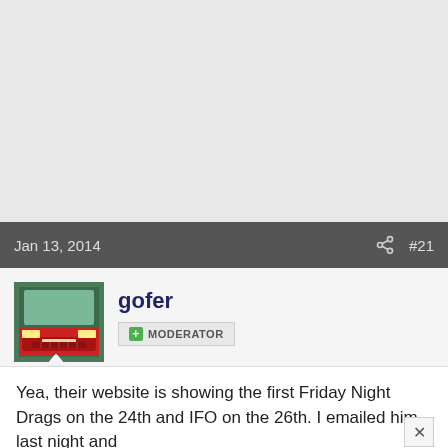[Figure (other): Gray empty area at top of page (advertisement or image placeholder)]
Jan 13, 2014
#21
[Figure (photo): Avatar image showing the front bumper of a red car]
gofer
MODERATOR
Yea, their website is showing the first Friday Night Drags on the 24th and IFO on the 26th. I emailed him last night and
I'm still waiting for a response, I posted a link to their calendar.